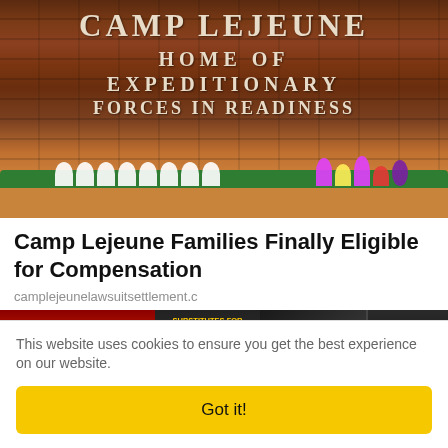[Figure (photo): Photo of Camp Lejeune entrance sign on brick wall reading 'CAMP LEJEUNE HOME OF EXPEDITIONARY FORCES IN READINESS' with white flower tributes and colorful flowers at base]
Camp Lejeune Families Finally Eligible for Compensation
camplejeunelawsuitsettlement.c
[Figure (photo): Photo of slot machine screen showing .20, MIN $11.71 and a person's head in front of casino machines]
This website uses cookies to ensure you get the best experience on our website.
Got it!